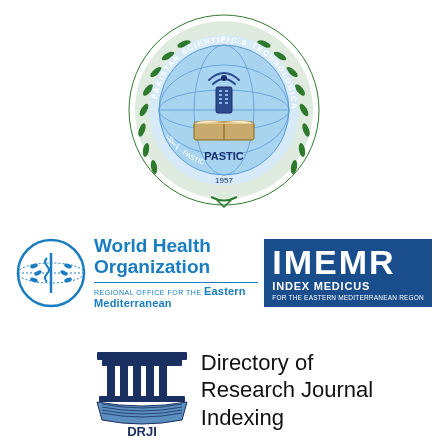[Figure (logo): PASTIC - Pakistan Scientific & Technological Information Center circular logo with wreath, globe, book, and microphone. Est. 1957.]
[Figure (logo): World Health Organization logo with WHO emblem and text 'World Health Organization', 'Regional Office for the Eastern Mediterranean', alongside IMEMR Index Medicus for the Eastern Mediterranean Region dark blue box.]
[Figure (logo): DRJI - Directory of Research Journal Indexing logo with temple/book icon and text 'Directory of Research Journal Indexing'.]